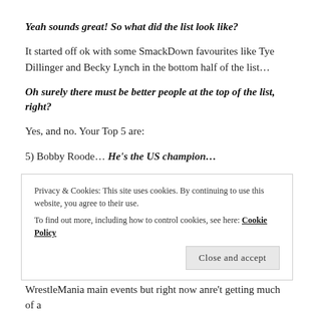Yeah sounds great! So what did the list look like?
It started off ok with some SmackDown favourites like Tye Dillinger and Becky Lynch in the bottom half of the list…
Oh surely there must be better people at the top of the list, right?
Yes, and no. Your Top 5 are:
5) Bobby Roode… He's the US champion…
4) Naomi… I guess people like a good rave?
3) Shinsuke Nakamura… He IS awesome, but isn't he already in the main event at WrestleMania?
Privacy & Cookies: This site uses cookies. By continuing to use this website, you agree to their use. To find out more, including how to control cookies, see here: Cookie Policy
WrestleMania main events but right now anre't getting much of a